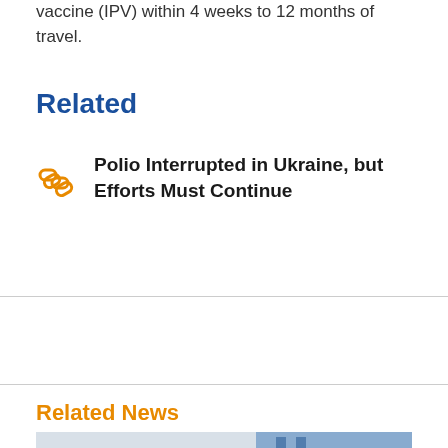vaccine (IPV) within 4 weeks to 12 months of travel.
Related
Polio Interrupted in Ukraine, but Efforts Must Continue
Related News
[Figure (photo): A person with curly dark hair in what appears to be a clinical or laboratory setting with blue equipment in background]